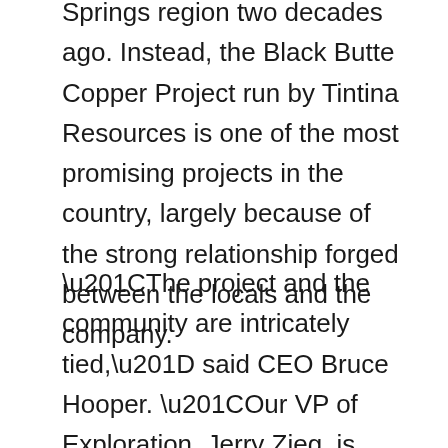Springs region two decades ago. Instead, the Black Butte Copper Project run by Tintina Resources is one of the most promising projects in the country, largely because of the strong relationship forged between the locals and the company.
“The project and the community are intricately tied,” said CEO Bruce Hooper. “Our VP of Exploration, Jerry Zieg, is from the community and was involved with the discovery in the 1980s. When the ranch owners were approached to lease their land